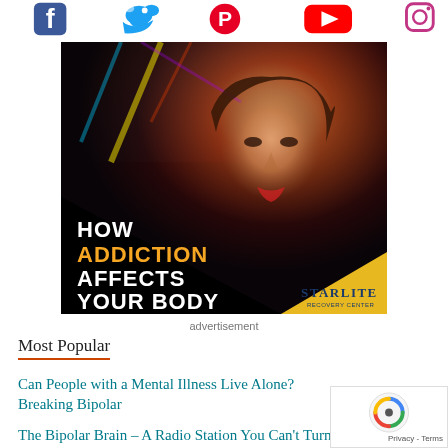[Figure (infographic): Social media icons row: Facebook (blue f), Twitter (blue bird), Pinterest (red P), YouTube (red tube), Instagram (camera outline)]
[Figure (photo): Advertisement image: HOW ADDICTION AFFECTS YOUR BODY — Starlite Recovery Center. Shows a young woman's face with dramatic club lighting behind her. Black triangle overlay in bottom-left with white and orange bold text.]
advertisement
Most Popular
Can People with a Mental Illness Live Alone?
Breaking Bipolar
The Bipolar Brain – A Radio Station You Can't Turn…